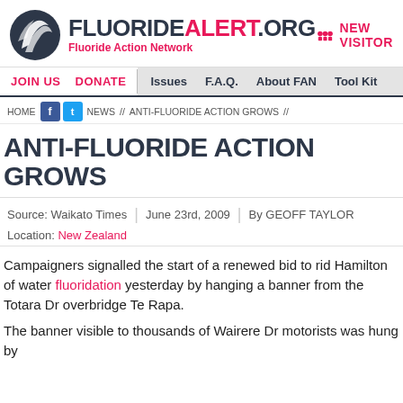FLUORIDEALERT.ORG Fluoride Action Network
NEW VISITOR
JOIN US | DONATE | Issues | F.A.Q. | About FAN | Tool Kit
HOME // NEWS // ANTI-FLUORIDE ACTION GROWS //
ANTI-FLUORIDE ACTION GROWS
Source: Waikato Times | June 23rd, 2009 | By GEOFF TAYLOR
Location: New Zealand
Campaigners signalled the start of a renewed bid to rid Hamilton of water fluoridation yesterday by hanging a banner from the Totara Dr overbridge Te Rapa.
The banner visible to thousands of Wairere Dr motorists was hung by